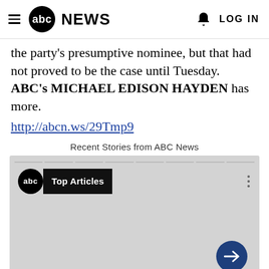abc NEWS   LOG IN
the party's presumptive nominee, but that had not proved to be the case until Tuesday. ABC's MICHAEL EDISON HAYDEN has more.
http://abcn.ws/29Tmp9
Recent Stories from ABC News
[Figure (screenshot): ABC News video player showing 'abc Top Articles' badge with navigation arrow button on gray background]